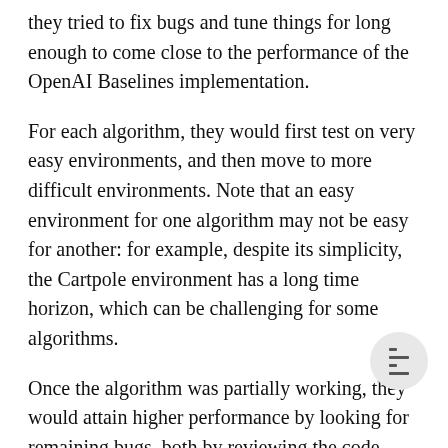they tried to fix bugs and tune things for long enough to come close to the performance of the OpenAI Baselines implementation.
For each algorithm, they would first test on very easy environments, and then move to more difficult environments. Note that an easy environment for one algorithm may not be easy for another: for example, despite its simplicity, the Cartpole environment has a long time horizon, which can be challenging for some algorithms.
Once the algorithm was partially working, they would attain higher performance by looking for remaining bugs, both by reviewing the code carefully, and by collecting metrics such as average policy entropy to perform sanity-checks, rather than just tune hyperparameters. Finally, when they wanted to match the performance of Baselines, they scrutinized the Baselines